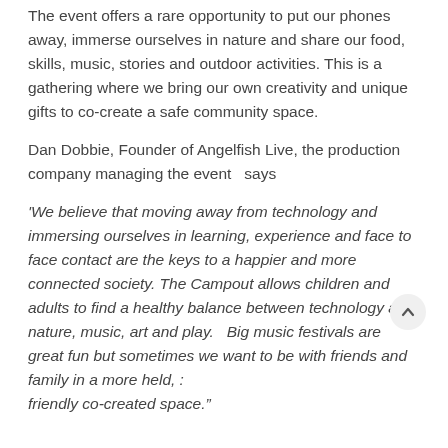The event offers a rare opportunity to put our phones away, immerse ourselves in nature and share our food, skills, music, stories and outdoor activities. This is a gathering where we bring our own creativity and unique gifts to co-create a safe community space.
Dan Dobbie, Founder of Angelfish Live, the production company managing the event  says
'We believe that moving away from technology and immersing ourselves in learning, experience and face to face contact are the keys to a happier and more connected society. The Campout allows children and adults to find a healthy balance between technology and nature, music, art and play.  Big music festivals are great fun but sometimes we want to be with friends and family in a more held, : friendly co-created space.'